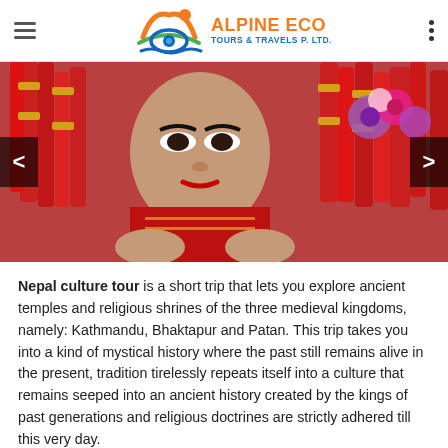Alpine Eco Tours & Travels P. Ltd.
[Figure (photo): A young girl dressed in traditional Nepalese cultural attire with red tassels and gold accessories, holding flowers, representing Nepal cultural tour.]
Nepal culture tour is a short trip that lets you explore ancient temples and religious shrines of the three medieval kingdoms, namely: Kathmandu, Bhaktapur and Patan. This trip takes you into a kind of mystical history where the past still remains alive in the present, tradition tirelessly repeats itself into a culture that remains seeped into an ancient history created by the kings of past generations and religious doctrines are strictly adhered till this very day.